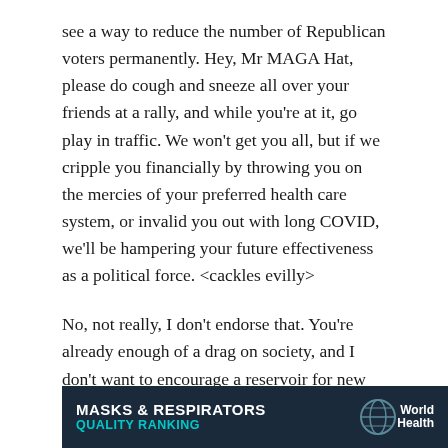see a way to reduce the number of Republican voters permanently. Hey, Mr MAGA Hat, please do cough and sneeze all over your friends at a rally, and while you're at it, go play in traffic. We won't get you all, but if we cripple you financially by throwing you on the mercies of your preferred health care system, or invalid you out with long COVID, we'll be hampering your future effectiveness as a political force. <cackles evilly>
No, not really, I don't endorse that. You're already enough of a drag on society, and I don't want to encourage a reservoir for new mutations to fester.
Meanwhile, as we wait for the next surge, here are some recommendations for you sensible people.
[Figure (other): Banner for 'Masks & Respirators Quality Ranking' with World Health logo on dark navy background, subtitle in teal/cyan color.]